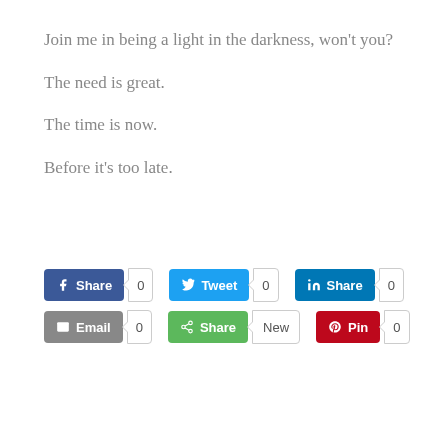Join me in being a light in the darkness, won’t you?
The need is great.
The time is now.
Before it’s too late.
[Figure (screenshot): Social sharing buttons row 1: Facebook Share (0), Twitter Tweet (0), LinkedIn Share (0). Row 2: Email (0), Share (New), Pinterest Pin (0).]